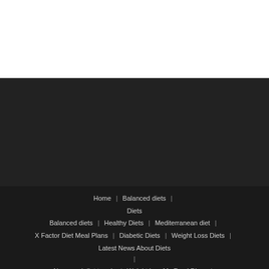Home | Balanced diets | Diets Balanced diets | Healthy Diets | Mediterranean diet | X Factor Diet Meal Plans | Diabetic Diets | Weight Loss Diets | Latest News About Diets | News and diet trends | Weight loss My Food Diary |